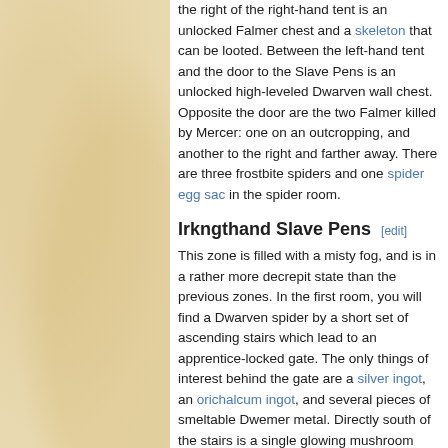[Figure (illustration): Parchment/tan textured background panel on the left side of the page]
the right of the right-hand tent is an unlocked Falmer chest and a skeleton that can be looted. Between the left-hand tent and the door to the Slave Pens is an unlocked high-leveled Dwarven wall chest. Opposite the door are the two Falmer killed by Mercer: one on an outcropping, and another to the right and farther away. There are three frostbite spiders and one spider egg sac in the spider room.
Irkngthand Slave Pens [edit]
This zone is filled with a misty fog, and is in a rather more decrepit state than the previous zones. In the first room, you will find a Dwarven spider by a short set of ascending stairs which lead to an apprentice-locked gate. The only things of interest behind the gate are a silver ingot, an orichalcum ingot, and several pieces of smeltable Dwemer metal. Directly south of the stairs is a single glowing mushroom growing on the wall, with another three growing farther to the east. Hedgerow the three smoldering ruined ...